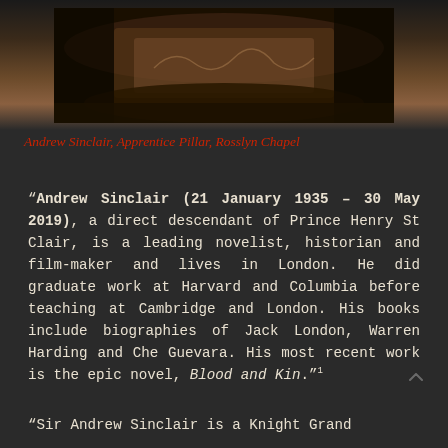[Figure (photo): Photo of Andrew Sinclair at the Apprentice Pillar, Rosslyn Chapel — a dark image showing stone architectural details]
Andrew Sinclair, Apprentice Pillar, Rosslyn Chapel
“Andrew Sinclair (21 January 1935 – 30 May 2019), a direct descendant of Prince Henry St Clair, is a leading novelist, historian and film-maker and lives in London. He did graduate work at Harvard and Columbia before teaching at Cambridge and London. His books include biographies of Jack London, Warren Harding and Che Guevara. His most recent work is the epic novel, Blood and Kin.”¹
“Sir Andrew Sinclair is a Knight Grand